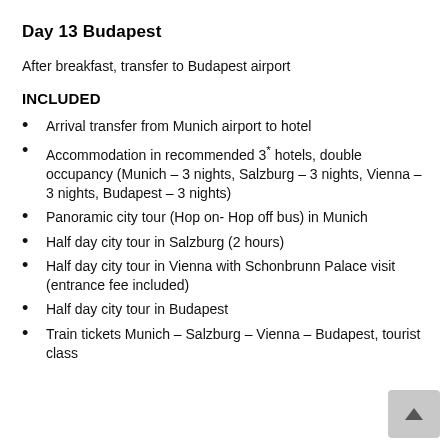Day 13 Budapest
After breakfast, transfer to Budapest airport
INCLUDED
Arrival transfer from Munich airport to hotel
Accommodation in recommended 3* hotels, double occupancy (Munich – 3 nights, Salzburg – 3 nights, Vienna – 3 nights, Budapest – 3 nights)
Panoramic city tour (Hop on- Hop off bus) in Munich
Half day city tour in Salzburg (2 hours)
Half day city tour in Vienna with Schonbrunn Palace visit (entrance fee included)
Half day city tour in Budapest
Train tickets Munich – Salzburg – Vienna – Budapest, tourist class